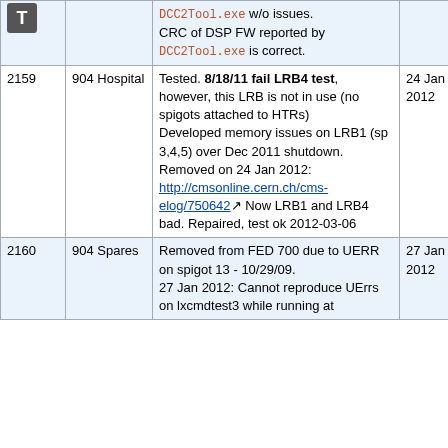|  | ID / Location | Notes | Date | Status |
| --- | --- | --- | --- | --- |
| [T icon] |  | DCC2Tool.exe w/o issues. CRC of DSP FW reported by DCC2Tool.exe is correct. |  |  |
| 2159 | 904 Hospital | Tested. 8/18/11 fail LRB4 test, however, this LRB is not in use (no spigots attached to HTRs) Developed memory issues on LRB1 (sp 3,4,5) over Dec 2011 shutdown. Removed on 24 Jan 2012: http://cmsonline.cern.ch/cms-elog/750642 Now LRB1 and LRB4 bad. Repaired, test ok 2012-03-06 | 24 Jan 2012 | OK |
| 2160 | 904 Spares | Removed from FED 700 due to UERR on spigot 13 - 10/29/09. 27 Jan 2012: Cannot reproduce UErrs on lxcmdtest3 while running at | 27 Jan 2012 | Ok |